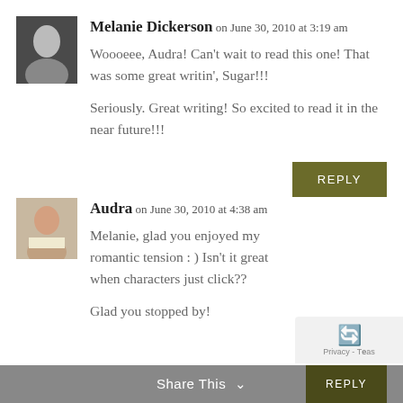Melanie Dickerson on June 30, 2010 at 3:19 am
Woooeee, Audra! Can't wait to read this one! That was some great writin', Sugar!!!

Seriously. Great writing! So excited to read it in the near future!!!
Reply
Audra on June 30, 2010 at 4:38 am
Melanie, glad you enjoyed my romantic tension : ) Isn't it great when characters just click??

Glad you stopped by!
Reply
Share This